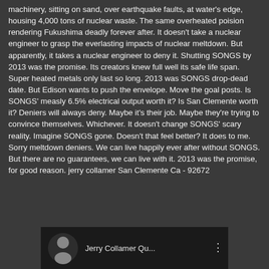machinery, sitting on sand, over earthquake faults, at water's edge, housing 4,000 tons of nuclear waste. The same overheated poision rendering Fukushima deadly forever after. It doesn't take a nuclear engineer to grasp the everlasting impacts of nuclear meltdown. But apparently, it takes a nuclear engineer to deny it. Shutting SONGS by 2013 was the promise. Its creators knew full well its safe life span. Super heated metals only last so long. 2013 was SONGS drop-dead date. But Edison wants to push the envelope. Move the goal posts. Is SONGS' measly 6.5% electrical output worth it? Is San Clemente worth it? Deniers will always deny. Maybe it's their job. Maybe they're trying to convince themselves. Whichever. It doesn't change SONGS' scary reality. Imagine SONGS gone. Doesn't that feel better? It does to me. Sorry meltdown deniers. We can live happily ever after without SONGS. But there are no guarantees, we can live with it. 2013 was the promise, for good reason. jerry collamer San Clemente Ca - 92672
[Figure (screenshot): Screenshot of a YouTube comment by Jerry Collamer showing avatar silhouette and channel name 'Jerry Collamer Qu...']